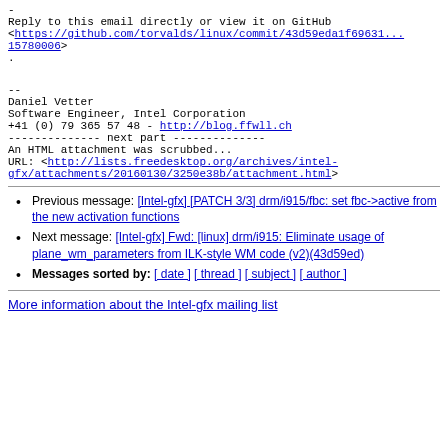-
Reply to this email directly or view it on GitHub
<https://github.com/torvalds/linux/commit/43d59eda1f69631...15780006>
.
--
Daniel Vetter
Software Engineer, Intel Corporation
+41 (0) 79 365 57 48 - http://blog.ffwll.ch
-------------- next part --------------
An HTML attachment was scrubbed...
URL: <http://lists.freedesktop.org/archives/intel-gfx/attachments/20160130/3250e38b/attachment.html>
Previous message: [Intel-gfx] [PATCH 3/3] drm/i915/fbc: set fbc->active from the new activation functions
Next message: [Intel-gfx] Fwd: [linux] drm/i915: Eliminate usage of plane_wm_parameters from ILK-style WM code (v2)(43d59ed)
Messages sorted by: [ date ] [ thread ] [ subject ] [ author ]
More information about the Intel-gfx mailing list